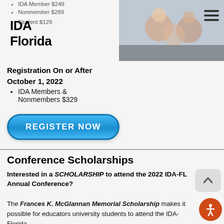IDA Florida
[Figure (photo): Photo of students or attendees at a conference, overlapping with top section]
IDA Member $249
Nonmember $289
Student $129
Registration On or After
October 1, 2022
IDA Members & Nonmembers $329
REGISTER NOW
Conference Scholarships
Interested in a SCHOLARSHIP to attend the 2022 IDA-FL Annual Conference?
The Frances K. McGlannan Memorial Scholarship makes it possible for educators university students to attend the IDA-Florida